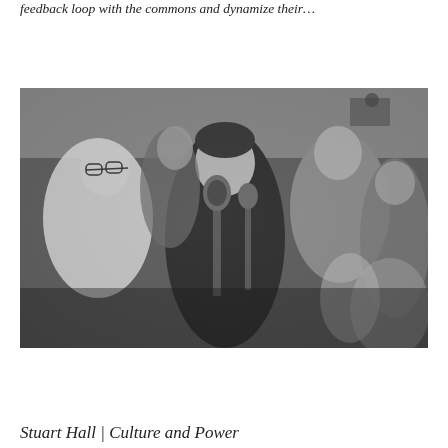feedback loop with the commons and dynamize their…
[Figure (photo): Black and white photograph of a man speaking at a microphone at what appears to be a public demonstration or rally, surrounded by a crowd of people.]
Stuart Hall | Culture and Power